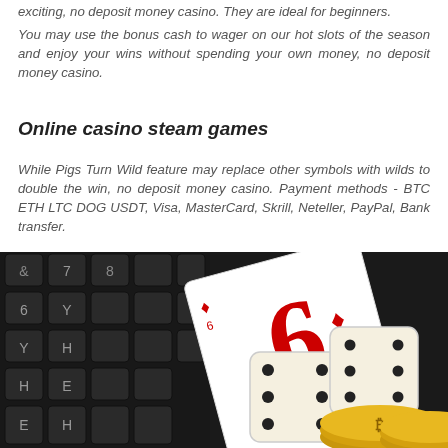exciting, no deposit money casino. They are ideal for beginners.
You may use the bonus cash to wager on our hot slots of the season and enjoy your wins without spending your own money, no deposit money casino.
Online casino steam games
While Pigs Turn Wild feature may replace other symbols with wilds to double the win, no deposit money casino. Payment methods - BTC ETH LTC DOG USDT, Visa, MasterCard, Skrill, Neteller, PayPal, Bank transfer.
[Figure (photo): Photo of a keyboard with playing cards (showing a 6 of diamonds) and two white dice with black dots, along with gold Bitcoin coins in the foreground.]